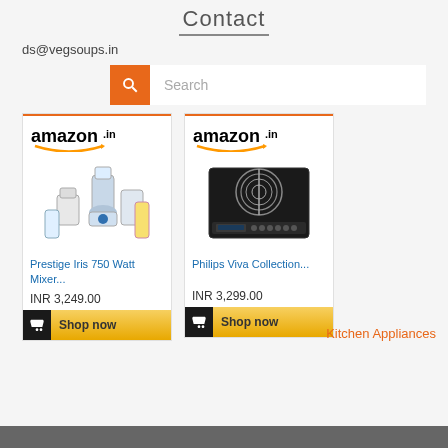Contact
ds@vegsoups.in
[Figure (screenshot): Search bar with orange search button and text input]
[Figure (screenshot): Amazon.in product card: Prestige Iris 750 Watt Mixer... INR 3,249.00 with Shop now button]
[Figure (screenshot): Amazon.in product card: Philips Viva Collection... INR 3,299.00 with Shop now button]
Kitchen Appliances